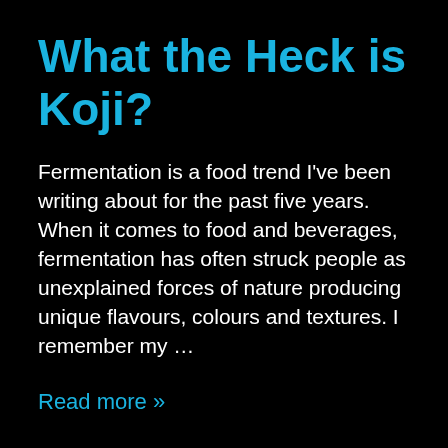What the Heck is Koji?
Fermentation is a food trend I've been writing about for the past five years. When it comes to food and beverages, fermentation has often struck people as unexplained forces of nature producing unique flavours, colours and textures. I remember my …
Read more »
POSTED ON  AUGUST 23, 2016  -   POSTED IN CULINARY, DIGESTIVE HEALTH, ENTREPRENEUR LIFE, FITNESS HEALTH, FOOD TRENDS, HEALTHY LIVING, IMMUNE HEALTH, WHAT THE HECK IS